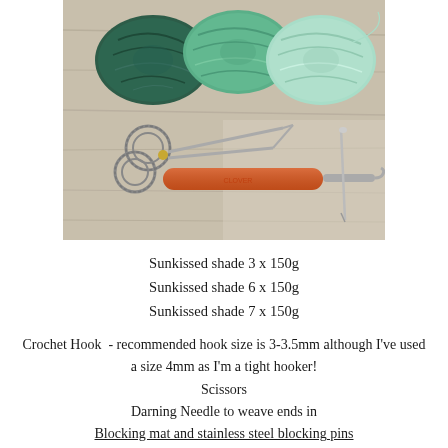[Figure (photo): Top-down photo on a wooden surface showing three skeins/balls of yarn in dark teal, medium green, and light mint green at the top, and below them an ornate pair of scissors with decorative metal handles, an orange-handled crochet hook, and a darning needle.]
Sunkissed shade 3 x 150g
Sunkissed shade 6 x 150g
Sunkissed shade 7 x 150g
Crochet Hook  - recommended hook size is 3-3.5mm although I've used a size 4mm as I'm a tight hooker!
Scissors
Darning Needle to weave ends in
Blocking mat and stainless steel blocking pins